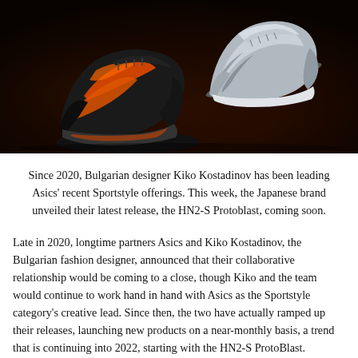[Figure (photo): Two sneakers photographed against a dark background. On the left is a black and orange ASICS sneaker with bold styling, and on the right is a silver/grey ASICS sneaker. The shoes appear to be the HN2-S Protoblast by Kiko Kostadinov.]
Since 2020, Bulgarian designer Kiko Kostadinov has been leading Asics' recent Sportstyle offerings. This week, the Japanese brand unveiled their latest release, the HN2-S Protoblast, coming soon.
Late in 2020, longtime partners Asics and Kiko Kostadinov, the Bulgarian fashion designer, announced that their collaborative relationship would be coming to a close, though Kiko and the team would continue to work hand in hand with Asics as the Sportstyle category's creative lead. Since then, the two have actually ramped up their releases, launching new products on a near-monthly basis, a trend that is continuing into 2022, starting with the HN2-S ProtoBlast.